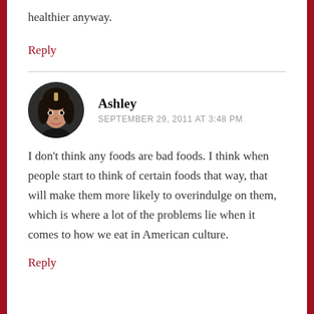healthier anyway.
Reply
Ashley
SEPTEMBER 29, 2011 AT 3:48 PM
I don't think any foods are bad foods. I think when people start to think of certain foods that way, that will make them more likely to overindulge on them, which is where a lot of the problems lie when it comes to how we eat in American culture.
Reply